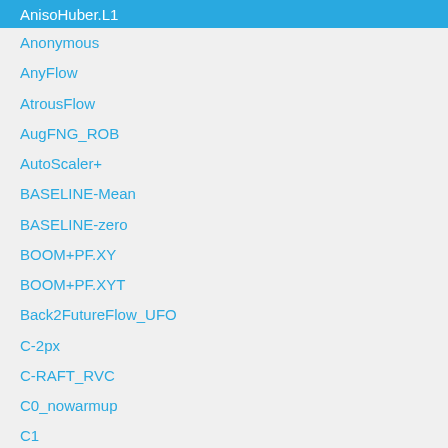AnisoHuber.L1
Anonymous
AnyFlow
AtrousFlow
AugFNG_ROB
AutoScaler+
BASELINE-Mean
BASELINE-zero
BOOM+PF.XY
BOOM+PF.XYT
Back2FutureFlow_UFO
C-2px
C-RAFT_RVC
C0_nowarmup
C1
CAR_100
CARflow
CARflow-mv
CNet